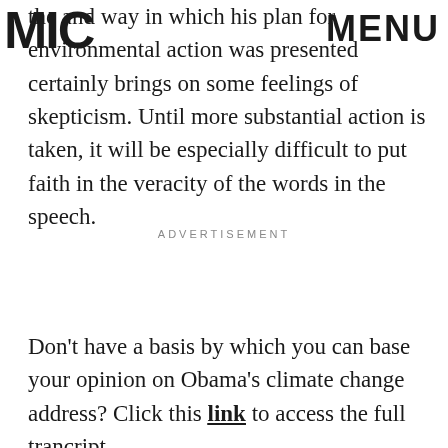MIC   MENU
the and way in which his plan for environmental action was presented certainly brings on some feelings of skepticism. Until more substantial action is taken, it will be especially difficult to put faith in the veracity of the words in the speech.
ADVERTISEMENT
Don't have a basis by which you can base your opinion on Obama's climate change address? Click this link to access the full trancript.